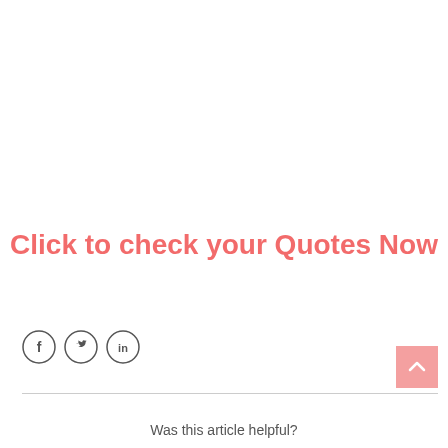Click to check your Quotes Now
[Figure (other): Social media share icons: Facebook, Twitter, LinkedIn — circular outlined icons]
[Figure (other): Back to top button — pink square with upward chevron arrow]
Was this article helpful?